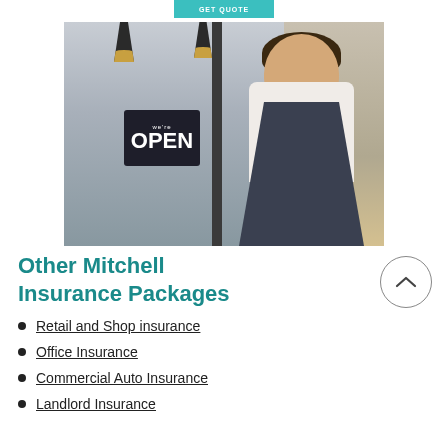[Figure (photo): Photo of a smiling male chef/restaurant owner wearing a dark apron and white shirt, standing at a glass door with a 'We're Open' sign, inside a cafe/restaurant setting]
Other Mitchell Insurance Packages
Retail and Shop insurance
Office Insurance
Commercial Auto Insurance
Landlord Insurance